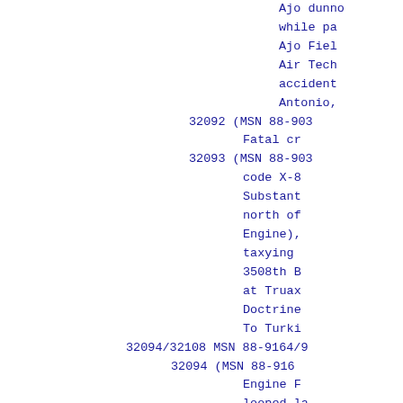Ajo dunno while pa Ajo Fiel Air Tech accident Antonio, 32092 (MSN 88-903 Fatal cr 32093 (MSN 88-903 code X-8 Substant north of Engine), taxying 3508th B at Truax Doctrine To Turki 32094/32108 MSN 88-9164/9 32094 (MSN 88-916 Engine F looped la Speciali Field 15 Damaged Air Defe 32095 (MSN 88-916 Crashed in this of AT-6A severely